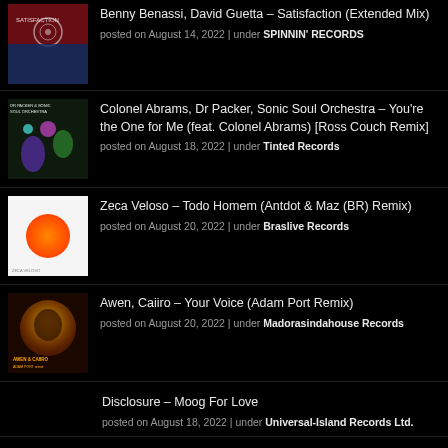Benny Benassi, David Guetta – Satisfaction (Extended Mix)
posted on August 14, 2022 | under SPINNIN' RECORDS
Colonel Abrams, Dr Packer, Sonic Soul Orchestra – You're the One for Me (feat. Colonel Abrams) [Ross Couch Remix]
posted on August 18, 2022 | under Tinted Records
Zeca Veloso – Todo Homem (Antdot & Maz (BR) Remix)
posted on August 20, 2022 | under Braslive Records
Awen, Caiiro – Your Voice (Adam Port Remix)
posted on August 20, 2022 | under Madorasindahouse Records
Disclosure – Moog For Love
posted on August 18, 2022 | under Universal-Island Records Ltd.